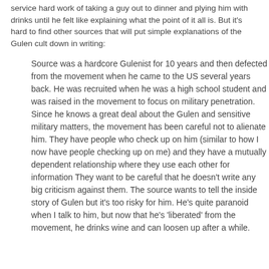service hard work of taking a guy out to dinner and plying him with drinks until he felt like explaining what the point of it all is. But it's hard to find other sources that will put simple explanations of the Gulen cult down in writing:
Source was a hardcore Gulenist for 10 years and then defected from the movement when he came to the US several years back. He was recruited when he was a high school student and was raised in the movement to focus on military penetration. Since he knows a great deal about the Gulen and sensitive military matters, the movement has been careful not to alienate him. They have people who check up on him (similar to how I now have people checking up on me) and they have a mutually dependent relationship where they use each other for information They want to be careful that he doesn't write any big criticism against them. The source wants to tell the inside story of Gulen but it's too risky for him. He's quite paranoid when I talk to him, but now that he's 'liberated' from the movement, he drinks wine and can loosen up after a while.